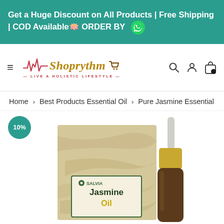Get a Huge Discount on All Products | Free Shipping | COD Available🪷 ORDER BY 📱
[Figure (logo): Shoprythm logo with heartbeat pulse line, shopping cart icon, and tagline LIVE A HOLISTIC LIFESTYLE]
Home > Best Products Essential Oil > Pure Jasmine Essential
[Figure (photo): Product image showing Salvia Jasmine Oil box packaging and a small dropper bottle with gold cap. A teal badge shows 10% discount.]